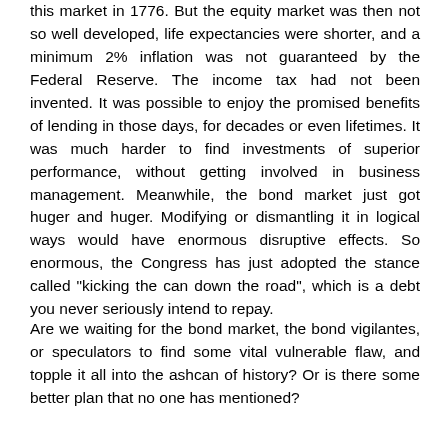this market in 1776. But the equity market was then not so well developed, life expectancies were shorter, and a minimum 2% inflation was not guaranteed by the Federal Reserve. The income tax had not been invented. It was possible to enjoy the promised benefits of lending in those days, for decades or even lifetimes. It was much harder to find investments of superior performance, without getting involved in business management. Meanwhile, the bond market just got huger and huger. Modifying or dismantling it in logical ways would have enormous disruptive effects. So enormous, the Congress has just adopted the stance called "kicking the can down the road", which is a debt you never seriously intend to repay.
Are we waiting for the bond market, the bond vigilantes, or speculators to find some vital vulnerable flaw, and topple it all into the ashcan of history? Or is there some better plan that no one has mentioned?